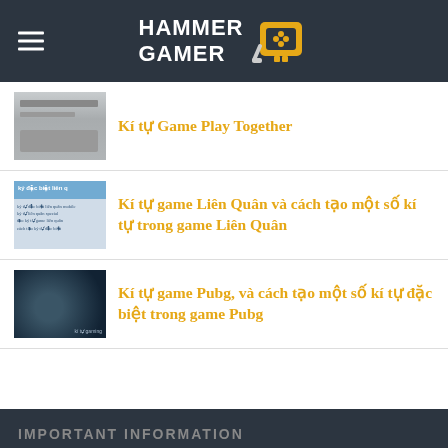HAMMER GAMER
Kí tự Game Play Together
Kí tự game Liên Quân và cách tạo một số kí tự trong game Liên Quân
Kí tự game Pubg, và cách tạo một số kí tự đặc biệt trong game Pubg
IMPORTANT INFORMATION
One of the biggest video game portals made by passion and hammer. HammerGamer portal provides professional